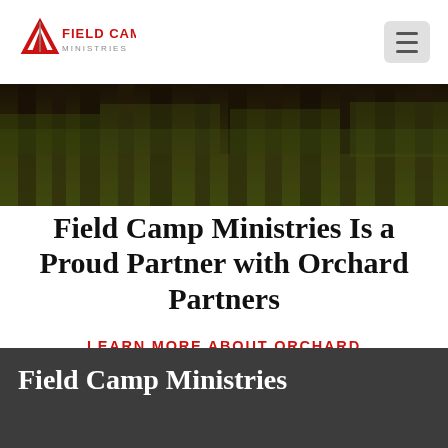[Figure (logo): Field Camp Ministries logo — red triangle/mountain icon with FIELD CAMP text in red and grey subtext]
[Figure (photo): Dark forest/redwood trees hero banner image with tall dark tree trunks and green foliage]
Field Camp Ministries Is a Proud Partner with Orchard Partners
LEARN MORE ABOUT ORCHARD
Field Camp Ministries